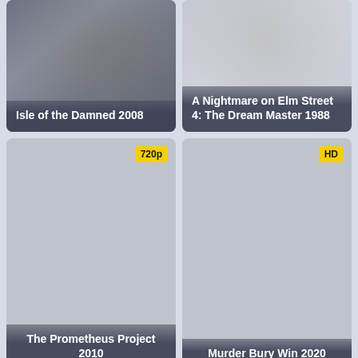[Figure (screenshot): Movie card for Isle of the Damned 2008 with dark blurred poster background]
[Figure (screenshot): Movie card for A Nightmare on Elm Street 4: The Dream Master 1988 with blurred poster background]
[Figure (screenshot): Movie card for The Prometheus Project 2010, plain gray, 720p badge]
[Figure (screenshot): Movie card for Murder Bury Win 2020, plain gray, HD badge]
[Figure (screenshot): Movie card (bottom left), plain gray, 720p badge]
[Figure (screenshot): Movie card (bottom right), plain gray, 720p badge]